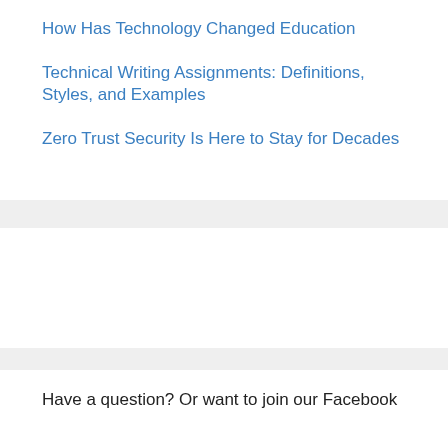How Has Technology Changed Education
Technical Writing Assignments: Definitions, Styles, and Examples
Zero Trust Security Is Here to Stay for Decades
Have a question? Or want to join our Facebook